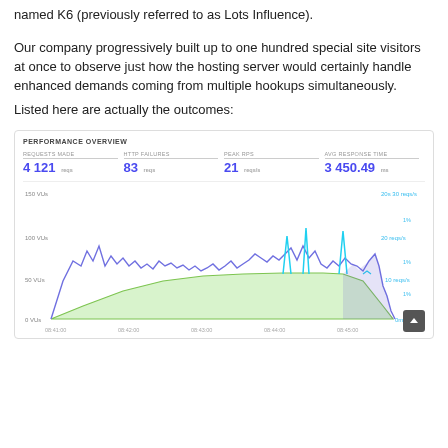named K6 (previously referred to as Lots Influence).
Our company progressively built up to one hundred special site visitors at once to observe just how the hosting server would certainly handle enhanced demands coming from multiple hookups simultaneously.
Listed here are actually the outcomes:
[Figure (continuous-plot): Performance overview dashboard showing a line chart with VUs (virtual users) ramping from 0 to 100 VUs over time. Blue/purple line shows HTTP requests per second oscillating around 100 VUs. Green area shows VU ramp-up and plateau. Cyan spikes indicate peak RPS moments. X-axis shows times from 08:41:00 to 08:45:00. Left Y-axis: 0 VUs to 150 VUs. Right Y-axis: 0 reqs/s to 30 reqs/s.]